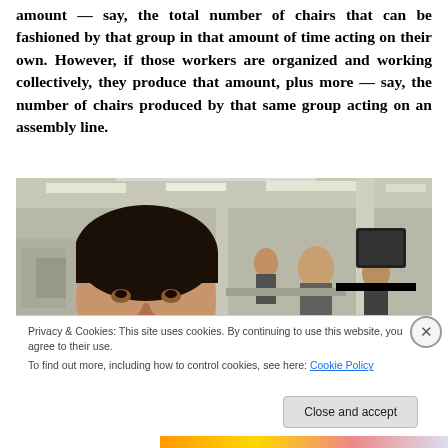amount — say, the total number of chairs that can be fashioned by that group in that amount of time acting on their own. However, if those workers are organized and working collectively, they produce that amount, plus more — say, the number of chairs produced by that same group acting on an assembly line.
[Figure (photo): Workers in a factory or assembly line setting; a person with dark hair in the foreground, others working in the background among industrial equipment and bright overhead lighting.]
Privacy & Cookies: This site uses cookies. By continuing to use this website, you agree to their use.
To find out more, including how to control cookies, see here: Cookie Policy